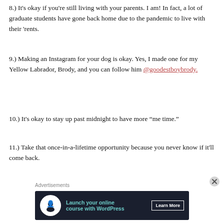8.) It's okay if you're still living with your parents. I am! In fact, a lot of graduate students have gone back home due to the pandemic to live with their 'rents.
9.) Making an Instagram for your dog is okay. Yes, I made one for my Yellow Labrador, Brody, and you can follow him @goodestboybrody.
10.) It's okay to stay up past midnight to have more “me time.”
11.) Take that once-in-a-lifetime opportunity because you never know if it'll come back.
Advertisements
[Figure (other): Advertisement banner: Launch your online course with WordPress. Learn More button. Dark navy background with teal text and a white circular icon.]